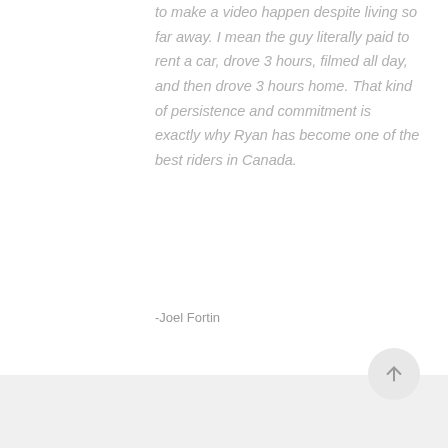to make a video happen despite living so far away. I mean the guy literally paid to rent a car, drove 3 hours, filmed all day, and then drove 3 hours home. That kind of persistence and commitment is exactly why Ryan has become one of the best riders in Canada.
-Joel Fortin
VIEW POST
READ MORE